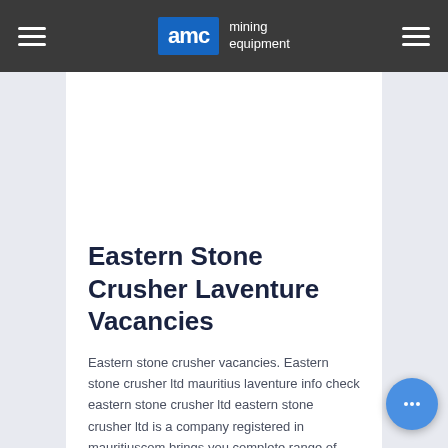AMC mining equipment
Eastern Stone Crusher Laventure Vacancies
Eastern stone crusher vacancies. Eastern stone crusher ltd mauritius laventure info check eastern stone crusher ltd eastern stone crusher ltd is a company registered in mauritiuscom brings you complete range of reports and documents